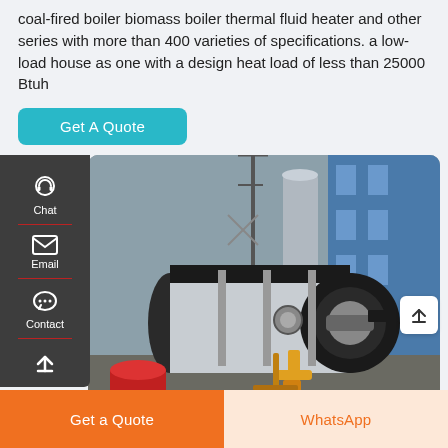coal-fired boiler biomass boiler thermal fluid heater and other series with more than 400 varieties of specifications. a low-load house as one with a design heat load of less than 25000 Btuh
Get A Quote
[Figure (photo): Industrial boiler (large cylindrical horizontal pressure vessel) on a concrete pad in a factory yard, with yellow piping/valve assembly in foreground, metal structures and blue buildings in background.]
Chat
Email
Contact
Get a Quote
WhatsApp